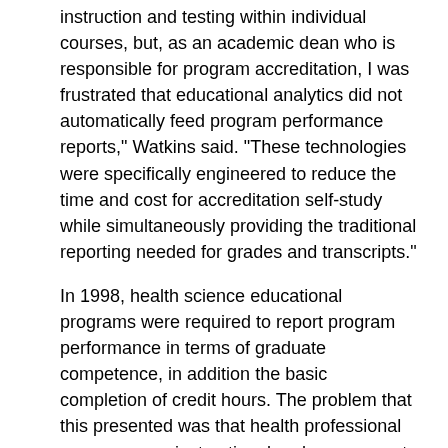instruction and testing within individual courses, but, as an academic dean who is responsible for program accreditation, I was frustrated that educational analytics did not automatically feed program performance reports," Watkins said. "These technologies were specifically engineered to reduce the time and cost for accreditation self-study while simultaneously providing the traditional reporting needed for grades and transcripts."
In 1998, health science educational programs were required to report program performance in terms of graduate competence, in addition the basic completion of credit hours. The problem that this presented was that health professional programs use instructional and assessment technologies that go significantly beyond lectures, labs and multiple-choice exams.
"We are particularly proud of the ways that we can include and track performance in problem-based/case-based and skills-based environments," Watkins said. "Sixty percent of a health science curriculum is based on clinical performance, and these patents detail how to simultaneously give credit to the student and the instructor for these encounters."
In 2018, ECU and XComP Analytics, Inc.—a newly formed